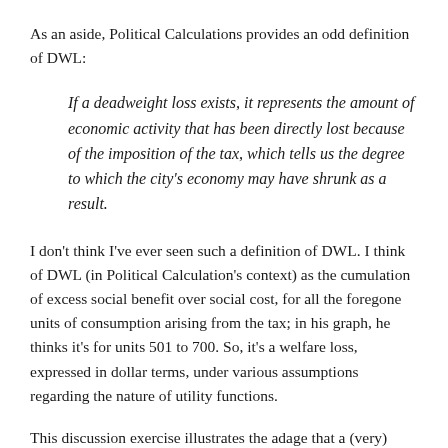As an aside, Political Calculations provides an odd definition of DWL:
If a deadweight loss exists, it represents the amount of economic activity that has been directly lost because of the imposition of the tax, which tells us the degree to which the city's economy may have shrunk as a result.
I don't think I've ever seen such a definition of DWL. I think of DWL (in Political Calculation's context) as the cumulation of excess social benefit over social cost, for all the foregone units of consumption arising from the tax; in his graph, he thinks it's for units 501 to 700. So, it's a welfare loss, expressed in dollar terms, under various assumptions regarding the nature of utility functions.
This discussion exercise illustrates the adage that a (very)